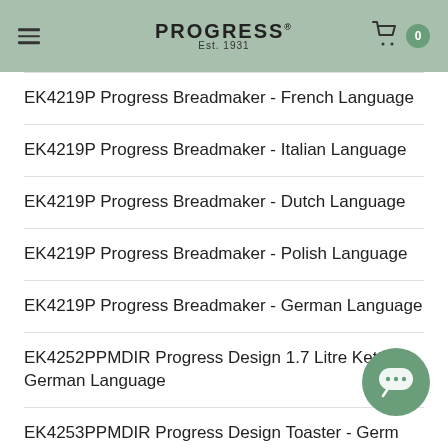PROGRESS Est. 1931
EK4219P Progress Breadmaker - French Language
EK4219P Progress Breadmaker - Italian Language
EK4219P Progress Breadmaker - Dutch Language
EK4219P Progress Breadmaker - Polish Language
EK4219P Progress Breadmaker - German Language
EK4252PPMDIR Progress Design 1.7 Litre Kettle - German Language
EK4253PPMDIR Progress Design Toaster - German Language
EK4253GNMPPMDIR Progess 2 Slice Toaster - German